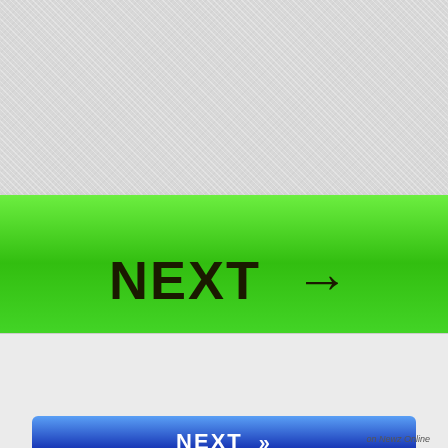[Figure (screenshot): Green 'NEXT →' button on textured grey background]
on Newz Online
[Figure (screenshot): Search bar with text input 'Search ...' and dark 'Search' button]
[Figure (screenshot): Blue 'NEXT »' navigation button]
on Newz Online